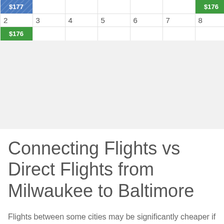[Figure (other): Calendar/date picker showing flight prices. Row 1: date 1 with $177 (blue/hatched), dates 2-7 empty, date 8 with $176 (green). Row 2: date 2 with $176 (green), dates 3-8 empty.]
Connecting Flights vs Direct Flights from Milwaukee to Baltimore
Flights between some cities may be significantly cheaper if you choose a multi-stop airline ticket. Although these connecting flights sacrifice some